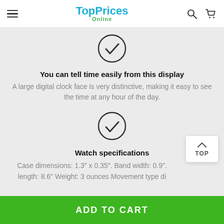TopPrices Online
[Figure (illustration): Circle checkmark icon (check inside a circle outline)]
You can tell time easily from this display
A large digital clock face is very distinctive, making it easy to see the time at any hour of the day.
[Figure (illustration): Circle checkmark icon (check inside a circle outline)]
Watch specifications
Case dimensions: 1.3″ x 0.35″. Band width: 0.9″. length: 8.6″ Weight: 3 ounces Movement type di
ADD TO CART